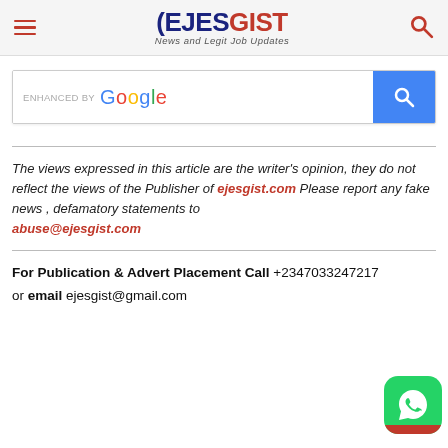EJESGIST – News and Legit Job Updates
[Figure (screenshot): Enhanced by Google search bar with blue search button]
The views expressed in this article are the writer's opinion, they do not reflect the views of the Publisher of ejesgist.com Please report any fake news , defamatory statements to abuse@ejesgist.com
For Publication & Advert Placement Call +2347033247217 or email ejesgist@gmail.com